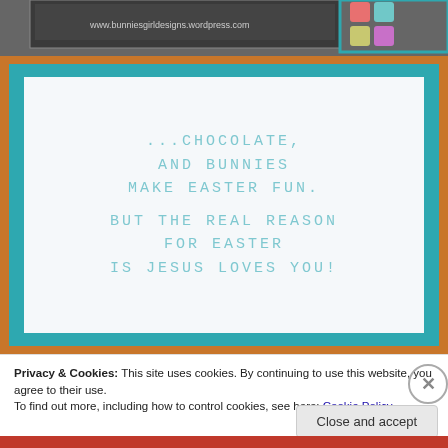[Figure (photo): Top portion of a crafting/blog header photo showing decorative items and the URL www.bunniesgirldesigns.wordpress.com]
[Figure (photo): Greeting card with teal border on brown background. Card reads: '...CHOCOLATE, AND BUNNIES MAKE EASTER FUN. BUT THE REAL REASON FOR EASTER IS JESUS LOVES YOU!' in light teal monospace uppercase letters on white background.]
Privacy & Cookies: This site uses cookies. By continuing to use this website, you agree to their use.
To find out more, including how to control cookies, see here: Cookie Policy
Close and accept